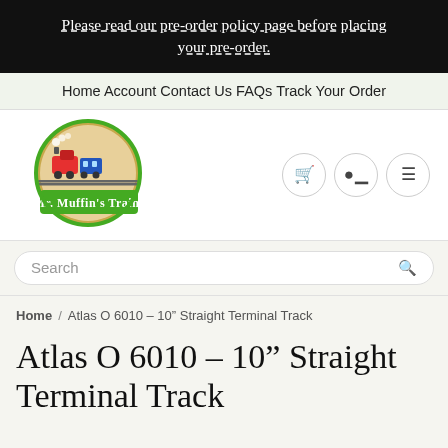Please read our pre-order policy page before placing your pre-order.
Home   Account   Contact Us   FAQs   Track Your Order
[Figure (logo): Mr. Muffin's Trains logo: circular emblem with toy train illustration and green banner with white text]
Search
Home / Atlas O 6010 – 10" Straight Terminal Track
Atlas O 6010 – 10" Straight Terminal Track